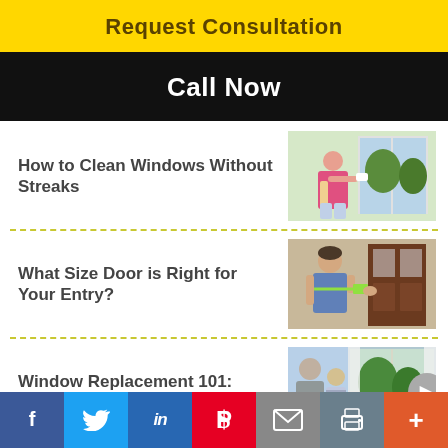Request Consultation
Call Now
How to Clean Windows Without Streaks
[Figure (photo): Woman cleaning a window from inside a home]
What Size Door is Right for Your Entry?
[Figure (photo): Person measuring a door with a tape measure]
Window Replacement 101: Getting Started
[Figure (photo): Couple looking at a window being installed]